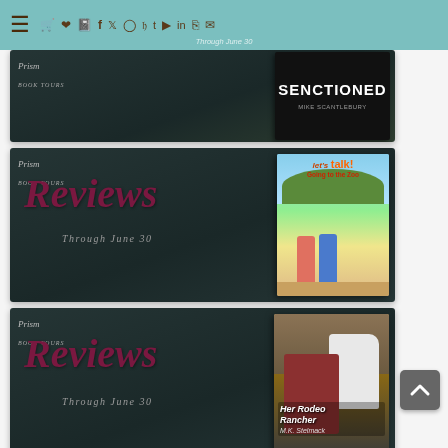[Figure (screenshot): Website header navigation bar with teal/mint background, hamburger menu icon on left, social media icons (cart, heart, book, Facebook, Twitter, Instagram, Pinterest, Tumblr, YouTube, LinkedIn, RSS, email) across top, with 'Through June 30' tagline text]
[Figure (screenshot): Book tour/review banner for 'Senctioned' by Mike Scantlebury, dark teal background with book cover showing dark cover with bold title text]
[Figure (screenshot): Prism Book Tours Reviews banner 'Through June 30' with book cover for children's book 'let's talk! Going to the Zoo' showing two girls walking toward a zoo]
[Figure (screenshot): Prism Book Tours Reviews banner 'Through June 30' with book cover for 'Her Rodeo Rancher' by M.K. Stelmack showing a cowboy with a white horse]
[Figure (screenshot): Partially visible book tour banner for Chris Karlsen, Tour May 10-19, with Prism Book Tours logo]